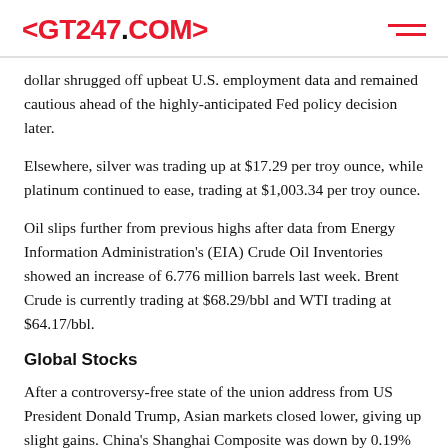<GT247.COM>
dollar shrugged off upbeat U.S. employment data and remained cautious ahead of the highly-anticipated Fed policy decision later.
Elsewhere, silver was trading up at $17.29 per troy ounce, while platinum continued to ease, trading at $1,003.34 per troy ounce.
Oil slips further from previous highs after data from Energy Information Administration's (EIA) Crude Oil Inventories showed an increase of 6.776 million barrels last week. Brent Crude is currently trading at $68.29/bbl and WTI trading at $64.17/bbl.
Global Stocks
After a controversy-free state of the union address from US President Donald Trump, Asian markets closed lower, giving up slight gains. China's Shanghai Composite was down by 0.19% and Japan's Nikkei down 0.83%.
European markets continued to follow suit, with the CAC-40 up by